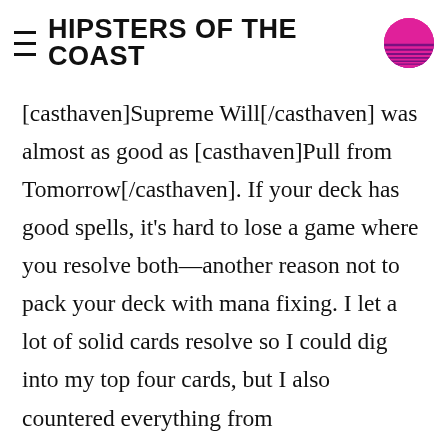HIPSTERS OF THE COAST
[casthaven]Supreme Will[/casthaven] was almost as good as [casthaven]Pull from Tomorrow[/casthaven]. If your deck has good spells, it's hard to lose a game where you resolve both—another reason not to pack your deck with mana fixing. I let a lot of solid cards resolve so I could dig into my top four cards, but I also countered everything from [casthaven]Nicol Bolas, God-Pharaoh[/casthaven] to [casthaven]Hour of